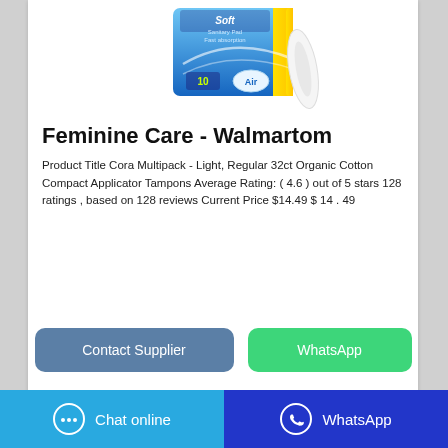[Figure (photo): Product image of a blue sanitary pad package labeled 'Soft Sanitary Pad Fast absorption' with '10' count and 'Air' label, shown with a pad beside it]
Feminine Care - Walmartom
Product Title Cora Multipack - Light, Regular 32ct Organic Cotton Compact Applicator Tampons Average Rating: ( 4.6 ) out of 5 stars 128 ratings , based on 128 reviews Current Price $14.49 $ 14 . 49
Contact Supplier
WhatsApp
Chat online   WhatsApp